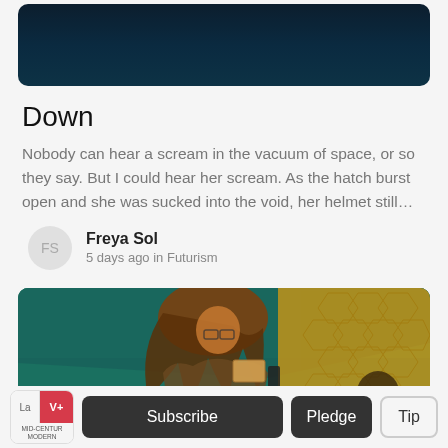[Figure (photo): Dark space/night sky image with deep teal and dark blue tones, partially visible at top of page]
Down
Nobody can hear a scream in the vacuum of space, or so they say. But I could hear her scream. As the hatch burst open and she was sucked into the void, her helmet still...
Freya Sol
5 days ago in Futurism
[Figure (photo): A person with long hair and glasses holding a box and a phone, in front of a teal/green illuminated background with hexagonal patterns]
Subscribe  Pledge  Tip